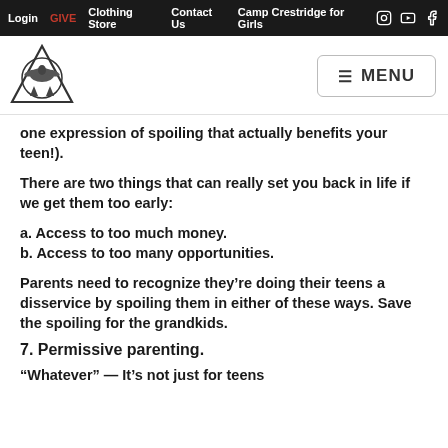Login  GIVE  Clothing Store  Contact Us  Camp Crestridge for Girls
[Figure (logo): Camp Crestridge circular triangular logo with eagle]
one expression of spoiling that actually benefits your teen!).
There are two things that can really set you back in life if we get them too early:
a. Access to too much money.
b. Access to too many opportunities.
Parents need to recognize they're doing their teens a disservice by spoiling them in either of these ways. Save the spoiling for the grandkids.
7. Permissive parenting.
“Whatever” — It’s not just for teens